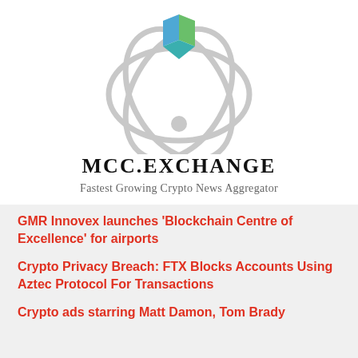[Figure (logo): MCC.Exchange logo: atomic/orbital ring design in light gray with a colorful triangular shield emblem (blue, green, teal) at the center top]
MCC.EXCHANGE
Fastest Growing Crypto News Aggregator
GMR Innovex launches ‘Blockchain Centre of Excellence’ for airports
Crypto Privacy Breach: FTX Blocks Accounts Using Aztec Protocol For Transactions
Crypto ads starring Matt Damon, Tom Brady